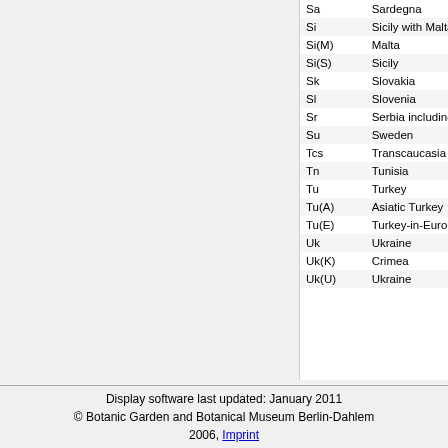| Code | Region | Status | Value |
| --- | --- | --- | --- |
| Sa | Sardegna | native | Calculated |
| Si | Sicily with Malta | native | Calculated |
| Si(M) | Malta | cultivated | Calculated |
| Si(S) | Sicily | native | Calculated |
| Sk | Slovakia | native | Calculated |
| Sl | Slovenia | native | Calculated |
| Sr | Serbia including Kosovo and Vojvodina | native | Calculated |
| Su | Sweden | native | Calculated |
| Tcs | Transcaucasia (Azerbaijan, Armenia, and Georgia) | native | Calculated |
| Tn | Tunisia | introduced | Calculated |
| Tu | Turkey | native | Calculated |
| Tu(A) | Asiatic Turkey | native | Calculated |
| Tu(E) | Turkey-in-Europe | native | Calculated |
| Uk | Ukraine | native | Calculated |
| Uk(K) | Crimea | native | Calculated |
| Uk(U) | Ukraine | native | Calculated |
Display software last updated: January 2011
© Botanic Garden and Botanical Museum Berlin-Dahlem 2006, Imprint